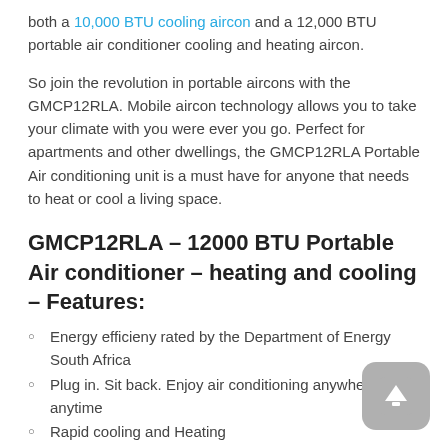both a 10,000 BTU cooling aircon and a 12,000 BTU portable air conditioner cooling and heating aircon.
So join the revolution in portable aircons with the GMCP12RLA. Mobile aircon technology allows you to take your climate with you were ever you go. Perfect for apartments and other dwellings, the GMCP12RLA Portable Air conditioning unit is a must have for anyone that needs to heat or cool a living space.
GMCP12RLA – 12000 BTU Portable Air conditioner – heating and cooling – Features:
Energy efficieny rated by the Department of Energy South Africa
Plug in. Sit back. Enjoy air conditioning anywhere anytime
Rapid cooling and Heating
Smart Mode
R410A Eco-Friendly Refrigerant. No CFC
3 speed cooling fan